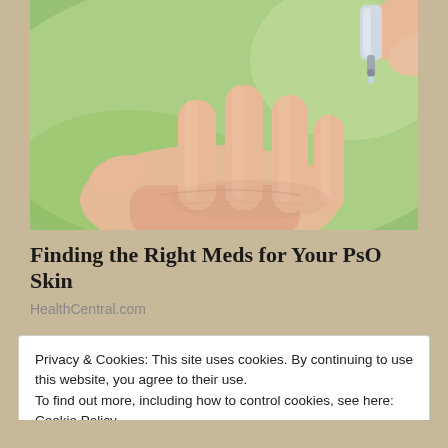[Figure (photo): Close-up photo of a hand with open palm, and another hand holding a small dropper bottle applying drops onto the palm, with a green blurred background.]
Finding the Right Meds for Your PsO Skin
HealthCentral.com
Privacy & Cookies: This site uses cookies. By continuing to use this website, you agree to their use.
To find out more, including how to control cookies, see here: Cookie Policy
Close and accept